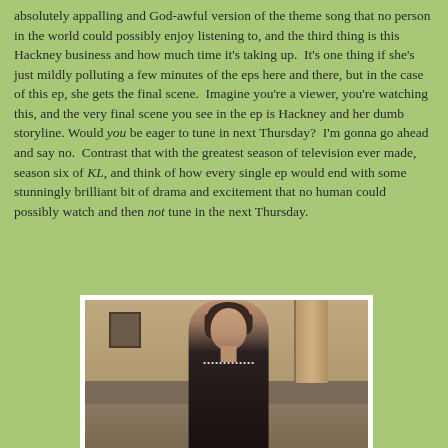absolutely appalling and God-awful version of the theme song that no person in the world could possibly enjoy listening to, and the third thing is this Hackney business and how much time it's taking up.  It's one thing if she's just mildly polluting a few minutes of the eps here and there, but in the case of this ep, she gets the final scene.  Imagine you're a viewer, you're watching this, and the very final scene you see in the ep is Hackney and her dumb storyline. Would you be eager to tune in next Thursday?  I'm gonna go ahead and say no.  Contrast that with the greatest season of television ever made, season six of KL, and think of how every single ep would end with some stunningly brilliant bit of drama and excitement that no human could possibly watch and then not tune in the next Thursday.
[Figure (photo): A woman with curly dark hair wearing a black top with a pearl necklace, looking to the side in an indoor setting]